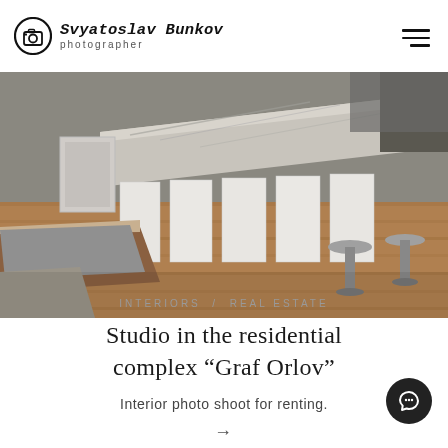Svyatoslav Bunkov photographer
[Figure (photo): Interior photo of a modern kitchen/living area with marble countertop, white cabinets, bar stools, wooden floor, and a seating bench area in the foreground.]
INTERIORS / REAL ESTATE
Studio in the residential complex “Graf Orlov”
Interior photo shoot for renting.